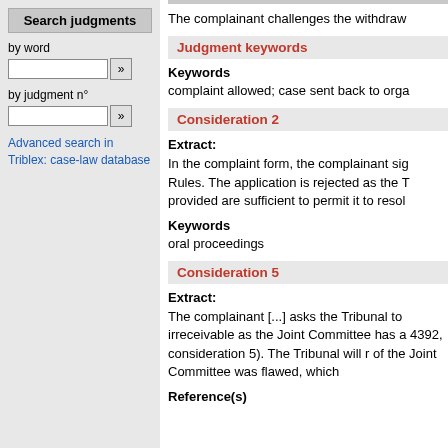Search judgments
by word
by judgment n°
Advanced search in Triblex: case-law database
The complainant challenges the withdraw
Judgment keywords
Keywords
complaint allowed; case sent back to orga
Consideration 2
Extract:
In the complaint form, the complainant sig Rules. The application is rejected as the T provided are sufficient to permit it to resol
Keywords
oral proceedings
Consideration 5
Extract:
The complainant [...] asks the Tribunal to irreceivable as the Joint Committee has a 4392, consideration 5). The Tribunal will r of the Joint Committee was flawed, which
Reference(s)